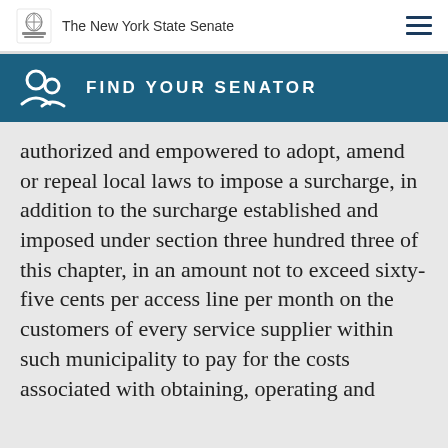The New York State Senate
FIND YOUR SENATOR
authorized and empowered to adopt, amend or repeal local laws to impose a surcharge, in addition to the surcharge established and imposed under section three hundred three of this chapter, in an amount not to exceed sixty-five cents per access line per month on the customers of every service supplier within such municipality to pay for the costs associated with obtaining, operating and